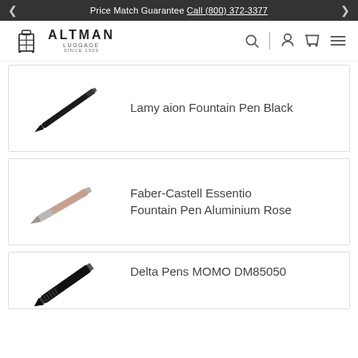Price Match Guarantee Call (800) 372-3377
[Figure (logo): Altman Luggage logo with suitcase icon, text ALTMAN LUGGAGE SINCE 1929]
[Figure (illustration): Black fountain pen (Lamy aion)]
Lamy aion Fountain Pen Black
[Figure (illustration): Rose aluminium fountain pen (Faber-Castell Essentio)]
Faber-Castell Essentio Fountain Pen Aluminium Rose
[Figure (illustration): Dark pen (Delta Pens MOMO DM85050), partially visible]
Delta Pens MOMO DM85050